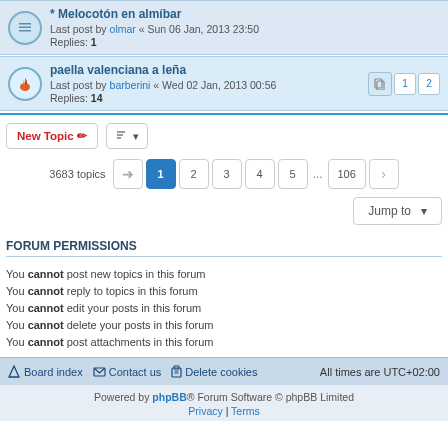* Melocotón en almíbar - Last post by olmar « Sun 06 Jan, 2013 23:50 - Replies: 1
paella valenciana a leña - Last post by barberini « Wed 02 Jan, 2013 00:56 - Replies: 14
New Topic | 3683 topics | 1 2 3 4 5 ... 106
Jump to
FORUM PERMISSIONS
You cannot post new topics in this forum
You cannot reply to topics in this forum
You cannot edit your posts in this forum
You cannot delete your posts in this forum
You cannot post attachments in this forum
Board index | Contact us | Delete cookies | All times are UTC+02:00
Powered by phpBB® Forum Software © phpBB Limited | Privacy | Terms